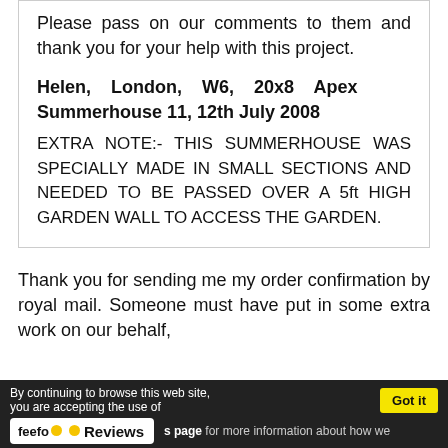Please pass on our comments to them and thank you for your help with this project.
Helen, London, W6, 20x8 Apex Summerhouse 11, 12th July 2008
EXTRA NOTE:- THIS SUMMERHOUSE WAS SPECIALLY MADE IN SMALL SECTIONS AND NEEDED TO BE PASSED OVER A 5ft HIGH GARDEN WALL TO ACCESS THE GARDEN.
Thank you for sending me my order confirmation by royal mail. Someone must have put in some extra work on our behalf,
By continuing to browse this web site, you are accepting the use of cookies. Visit our cookies page for more information about how we use cookies. Got it | feefo Reviews